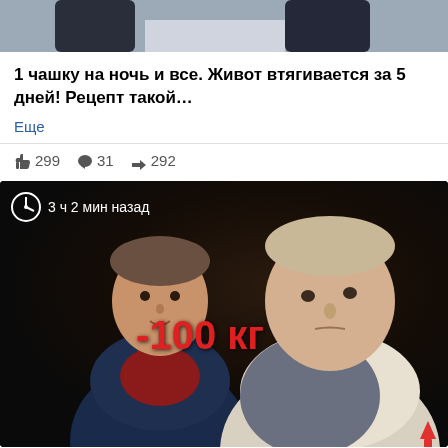[Figure (photo): Top cropped photo showing lower portion of two people standing, dark jeans visible]
1 чашку на ночь и все. Живот втягивается за 5 дней! Рецепт такой…
Еще
👍 299  💬 31  ↪ 292
[Figure (photo): Social media video thumbnail showing two men side by side with text '-100 кг' in red, clock icon and timestamp '3 ч 2 мин назад' in top left, red upward arrow in bottom right corner. Dark background.]